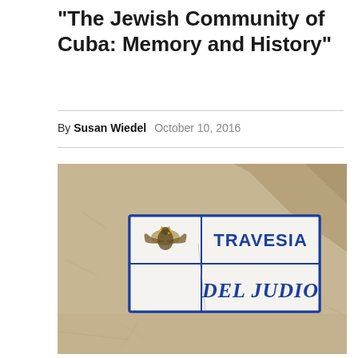"The Jewish Community of Cuba: Memory and History"
By Susan Wiedel   October 10, 2016
[Figure (photo): A tiled ceramic street sign mounted on a stone wall reading 'TRAVESIA DEL JUDIO' in blue letters with a heraldic eagle emblem, photographed in daylight with a shadow cast across the upper right of the wall.]